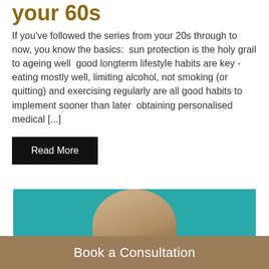your 60s
If you've followed the series from your 20s through to now, you know the basics:  sun protection is the holy grail to ageing well  good longterm lifestyle habits are key - eating mostly well, limiting alcohol, not smoking (or quitting) and exercising regularly are all good habits to implement sooner than later  obtaining personalised medical [...]
Read More
[Figure (photo): Photo of a person with teal/cyan background, showing top of head with light brown hair, partially cropped]
Book a Consultation